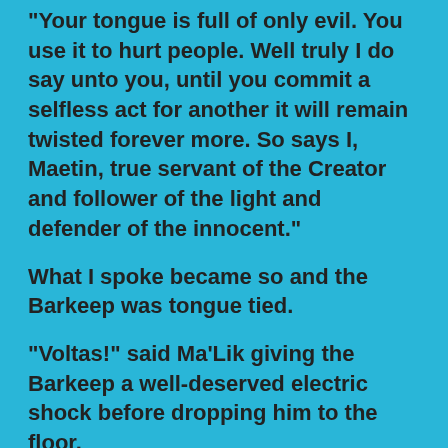“Your tongue is full of only evil. You use it to hurt people. Well truly I do say unto you, until you commit a selfless act for another it will remain twisted forever more. So says I, Maetin, true servant of the Creator and follower of the light and defender of the innocent.”
What I spoke became so and the Barkeep was tongue tied.
“Voltas!” said Ma’Lik giving the Barkeep a well-deserved electric shock before dropping him to the floor.
We made our way out of the bar. Still standing outside of the bar was the mule Ma’Lik had left behind when he had fled the town.
“Hey there,” said Ma’Lik to the mule. It greeted him with a bray. He untied it from the post and